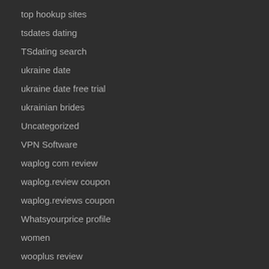top hookup sites
tsdates dating
TSdating search
ukraine date
ukraine date free trial
ukrainian brides
Uncategorized
VPN Software
waplog com review
waplog.review coupon
waplog.reviews coupon
Whatsyourprice profile
women
wooplus review
Write Essay For Me
Write My Essay
Write My Essay Online